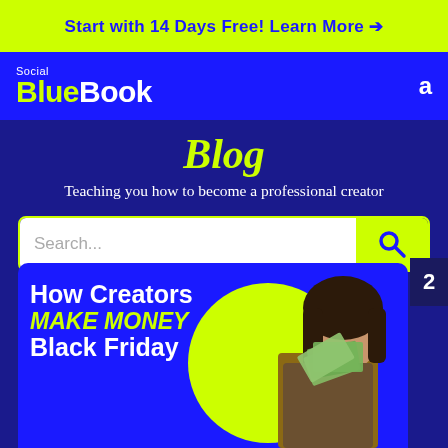Start with 14 Days Free! Learn More →
[Figure (logo): Social BlueBook logo — white text on blue background, 'Social' in small text above 'BlueBook' in bold large text]
Blog
Teaching you how to become a professional creator
[Figure (screenshot): Search bar with white input field labeled 'Search...' and a yellow search button with magnifying glass icon]
[Figure (illustration): Blog article card with dark blue background, yellow semicircle, woman holding money, text: 'How Creators MAKE MONEY Black Friday']